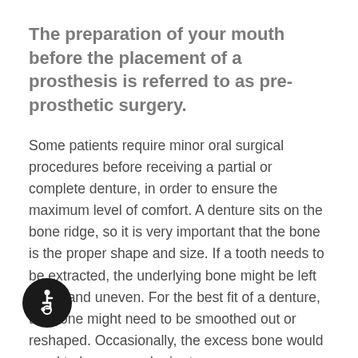The preparation of your mouth before the placement of a prosthesis is referred to as pre-prosthetic surgery.
Some patients require minor oral surgical procedures before receiving a partial or complete denture, in order to ensure the maximum level of comfort. A denture sits on the bone ridge, so it is very important that the bone is the proper shape and size. If a tooth needs to be extracted, the underlying bone might be left sharp and uneven. For the best fit of a denture, the bone might need to be smoothed out or reshaped. Occasionally, the excess bone would need to be removed prior to